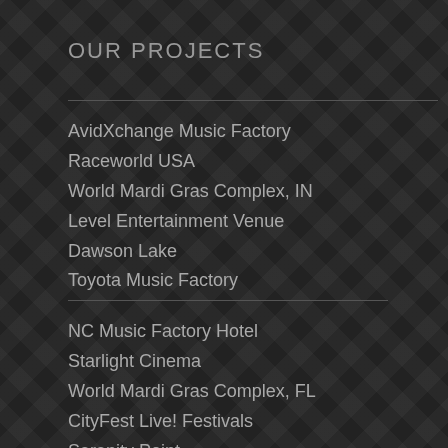OUR PROJECTS
AvidXchange Music Factory
Raceworld USA
World Mardi Gras Complex, IN
Level Entertainment Venue
Dawson Lake
Toyota Music Factory
NC Music Factory Hotel
Starlight Cinema
World Mardi Gras Complex, FL
CityFest Live! Festivals
Serenity Point